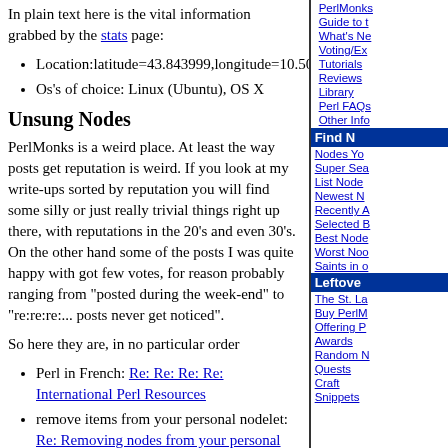In plain text here is the vital information grabbed by the stats page:
Location:latitude=43.843999,longitude=10.50529
Os's of choice: Linux (Ubuntu), OS X
Unsung Nodes
PerlMonks is a weird place. At least the way posts get reputation is weird. If you look at my write-ups sorted by reputation you will find some silly or just really trivial things right up there, with reputations in the 20's and even 30's. On the other hand some of the posts I was quite happy with got few votes, for reason probably ranging from "posted during the week-end" to "re:re:re:... posts never get noticed".
So here they are, in no particular order
Perl in French: Re: Re: Re: Re: International Perl Resources
remove items from your personal nodelet: Re: Removing nodes from your personal nodelet
my favorite dirty trick: Speeding-up OO accessor methods